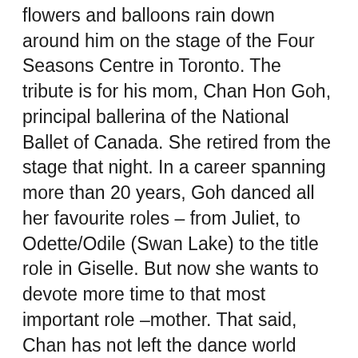flowers and balloons rain down around him on the stage of the Four Seasons Centre in Toronto. The tribute is for his mom, Chan Hon Goh, principal ballerina of the National Ballet of Canada. She retired from the stage that night. In a career spanning more than 20 years, Goh danced all her favourite roles – from Juliet, to Odette/Odile (Swan Lake) to the title role in Giselle. But now she wants to devote more time to that most important role –mother. That said, Chan has not left the dance world completely. How could she? Dance is in her blood. Both her parents performed with the National Ballet of China, but fled the country in 1977 during the Cultural Revolution. Shortly after emigrating to Vancouver, they established the now internationally renowned Goh Ballet Academy. Back then, they knew their young daughter Chan enjoyed dance classes, but didn't recognize her passion to pursue a career on stage.